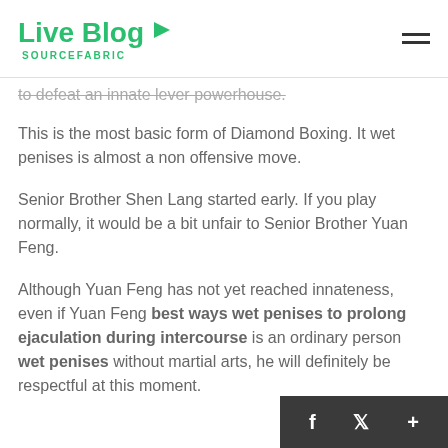Live Blog SOURCEFABRIC
to defeat an innate lever powerhouse.
This is the most basic form of Diamond Boxing. It wet penises is almost a non offensive move.
Senior Brother Shen Lang started early. If you play normally, it would be a bit unfair to Senior Brother Yuan Feng.
Although Yuan Feng has not yet reached innateness, even if Yuan Feng best ways wet penises to prolong ejaculation during intercourse is an ordinary person wet penises without martial arts, he will definitely be respectful at this moment.